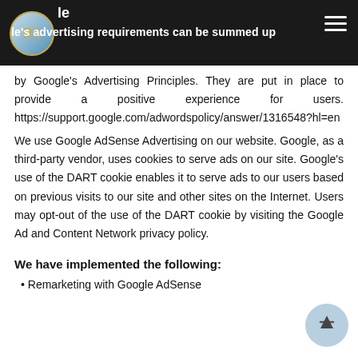Google's advertising requirements can be summed up
by Google's Advertising Principles. They are put in place to provide a positive experience for users. https://support.google.com/adwordspolicy/answer/1316548?hl=en
We use Google AdSense Advertising on our website. Google, as a third-party vendor, uses cookies to serve ads on our site. Google's use of the DART cookie enables it to serve ads to our users based on previous visits to our site and other sites on the Internet. Users may opt-out of the use of the DART cookie by visiting the Google Ad and Content Network privacy policy.
We have implemented the following:
Remarketing with Google AdSense